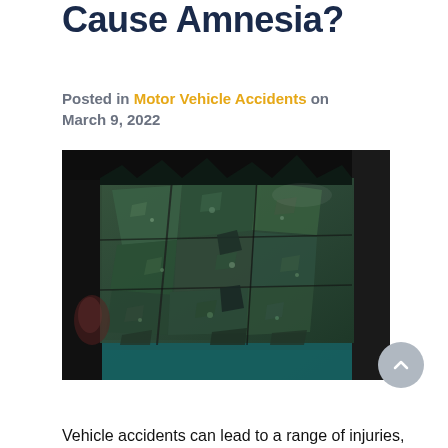Cause Amnesia?
Posted in Motor Vehicle Accidents on March 9, 2022
[Figure (photo): Close-up photo of a severely damaged car windshield shattered into many pieces of green safety glass, with broken frame and debris visible. Dark teal/green shattered glass covering the interior of a wrecked vehicle.]
Vehicle accidents can lead to a range of injuries,